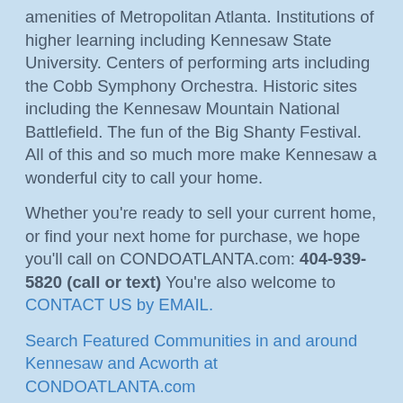amenities of Metropolitan Atlanta. Institutions of higher learning including Kennesaw State University. Centers of performing arts including the Cobb Symphony Orchestra. Historic sites including the Kennesaw Mountain National Battlefield. The fun of the Big Shanty Festival. All of this and so much more make Kennesaw a wonderful city to call your home.
Whether you're ready to sell your current home, or find your next home for purchase, we hope you'll call on CONDOATLANTA.com: 404-939-5820 (call or text) You're also welcome to CONTACT US by EMAIL.
Search Featured Communities in and around Kennesaw and Acworth at CONDOATLANTA.com
Search Featured Communities in and around Woodstock at CONDOATLANTA.com